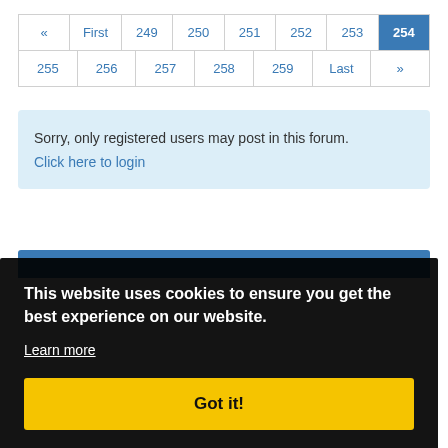| « | First | 249 | 250 | 251 | 252 | 253 | 254 |
| --- | --- | --- | --- | --- | --- | --- | --- |
| 255 | 256 | 257 | 258 | 259 | Last | » |
Sorry, only registered users may post in this forum.
Click here to login
[Figure (screenshot): Blue header bar at top of a section]
This website uses cookies to ensure you get the best experience on our website.
Learn more
Got it!